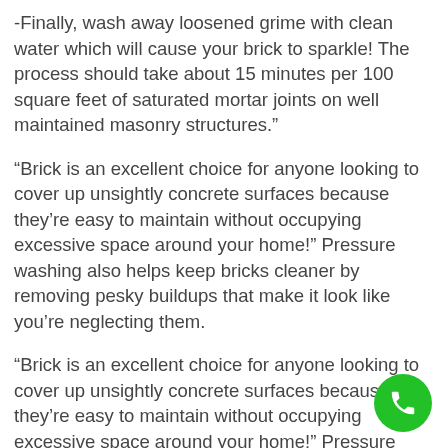-Finally, wash away loosened grime with clean water which will cause your brick to sparkle! The process should take about 15 minutes per 100 square feet of saturated mortar joints on well maintained masonry structures."
“Brick is an excellent choice for anyone looking to cover up unsightly concrete surfaces because they’re easy to maintain without occupying excessive space around your home!” Pressure washing also helps keep bricks cleaner by removing pesky buildups that make it look like you’re neglecting them.
“Brick is an excellent choice for anyone looking to cover up unsightly concrete surfaces because they’re easy to maintain without occupying excessive space around your home!” Pressure washing also helps keep bricks cleaner by removing pesky buildups that make it look like you’re neglecting them.
[Figure (other): Green circular phone/call button icon in bottom-right corner]